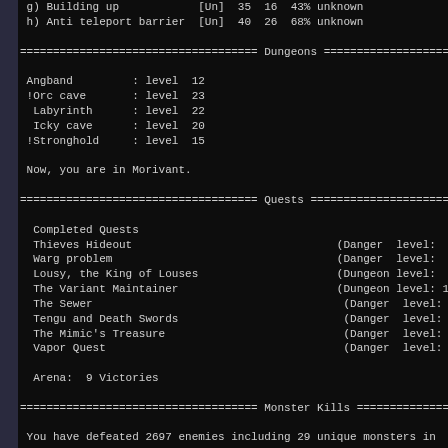g) Building up        [Un]  35  16  43% unknown
h) Anti teleport barrier  [Un]  40  26  68% unknown
==================================== Dungeons =================
Angband         : level  12
!Orc cave       : level  23
 Labyrinth      : level  22
 Icky cave      : level  20
!Stronghold     : level  15
Now, you are in Morivant.
==================================== Quests =================
Completed Quests
 Thieves Hideout                               (Danger  level:  5
 Warg problem                                  (Danger  level:  5
 Lousy, the King of Louses                     (Dungeon level:  6
 The Variant Maintainer                         (Dungeon level: 12
 The Sewer                                      (Danger  level: 15
 Tengu and Death Swords                         (Danger  level: 25
 The Mimic's Treasure                           (Danger  level: 25
 Vapor Quest                                    (Danger  level: 25
Arena:  9 Victories
==================================== Monster Kills =================
You have defeated 2697 enemies including 29 unique monsters in
| Uniques | Lvl |
| --- | --- |
| Azog, King of the Uruk-Hai | 23 |
| Gorbag, the Orc Captain | 18 |
| Meng Huo, the King of Southerings | 18 |
| The Ghost 'Q' | 15 |